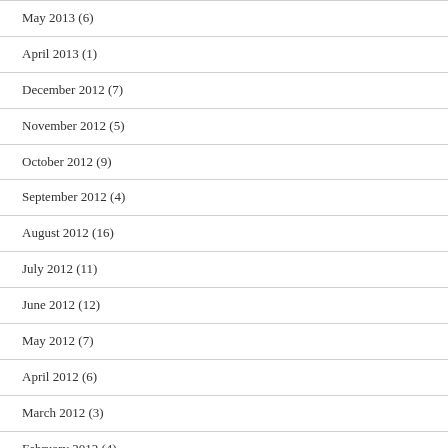May 2013 (6)
April 2013 (1)
December 2012 (7)
November 2012 (5)
October 2012 (9)
September 2012 (4)
August 2012 (16)
July 2012 (11)
June 2012 (12)
May 2012 (7)
April 2012 (6)
March 2012 (3)
February 2012 (4)
January 2012 (7)
August 2010 (1)
July 2010 (1)